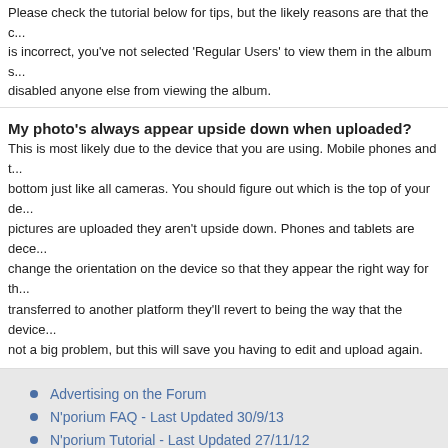Please check the tutorial below for tips, but the likely reasons are that the c... is incorrect, you've not selected 'Regular Users' to view them in the album s... disabled anyone else from viewing the album.
My photo's always appear upside down when uploaded?
This is most likely due to the device that you are using. Mobile phones and t... bottom just like all cameras. You should figure out which is the top of your de... pictures are uploaded they aren't upside down. Phones and tablets are dece... change the orientation on the device so that they appear the right way for th... transferred to another platform they'll revert to being the way that the device... not a big problem, but this will save you having to edit and upload again.
Advertising on the Forum
N'porium FAQ - Last Updated 30/9/13
N'porium Tutorial - Last Updated 27/11/12
Code of Conduct/Rules - Last Updated 20/10/14
Help Section
About the NGF Moderating Team
Photography Tips
Promoting the NGF